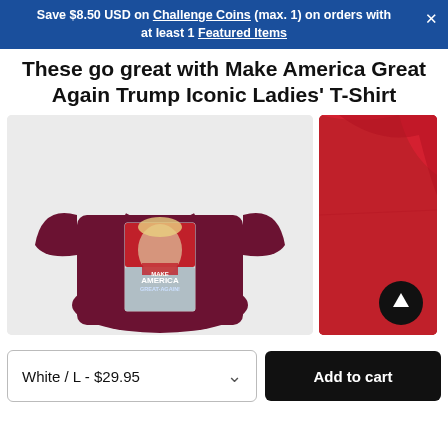Save $8.50 USD on Challenge Coins (max. 1) on orders with at least 1 Featured Items
These go great with Make America Great Again Trump Iconic Ladies' T-Shirt
[Figure (photo): Maroon/burgundy t-shirt with a stylized poster graphic of Trump and the text MAKE AMERICA GREAT AGAIN on the front, displayed on a light gray background]
[Figure (photo): Partial view of a red t-shirt, cropped on the right side]
White / L - $29.95
Add to cart